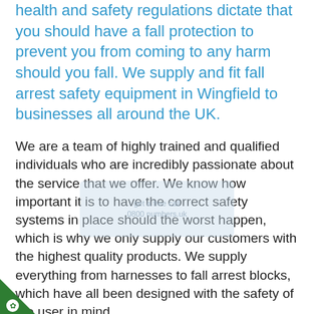health and safety regulations dictate that you should have a fall protection to prevent you from coming to any harm should you fall. We supply and fit fall arrest safety equipment in Wingfield to businesses all around the UK.
We are a team of highly trained and qualified individuals who are incredibly passionate about the service that we offer. We know how important it is to have the correct safety systems in place should the worst happen, which is why we only supply our customers with the highest quality products. We supply everything from harnesses to fall arrest blocks, which have all been designed with the safety of the user in mind.
We believe that the key to a successful business is communication with our customers, which is why we are one of the leading safety equipment suppliers in Wingfield in the UK. As a team, we have a lot of knowledge about the best systems for you and will be